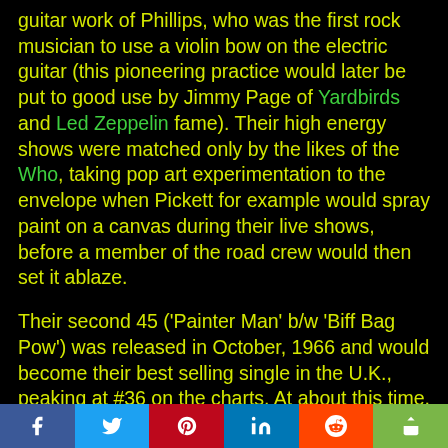guitar work of Phillips, who was the first rock musician to use a violin bow on the electric guitar (this pioneering practice would later be put to good use by Jimmy Page of Yardbirds and Led Zeppelin fame). Their high energy shows were matched only by the likes of the Who, taking pop art experimentation to the envelope when Pickett for example would spray paint on a canvas during their live shows, before a member of the road crew would then set it ablaze.
Their second 45 ('Painter Man' b/w 'Biff Bag Pow') was released in October, 1966 and would become their best selling single in the U.K., peaking at #36 on the charts. At about this time, Phillips was asked by Pete Townshend of the Who to join their band as a second guitarist, but he gracefully declined. The band did however experience a crisis point at the end of 1966 when Pickett left over creative differences and the continuing need to tour the European continent where they were far more popular than in the U.K. Pickett was replaced by Kim Gardner (bass) of the Birds and it was also around this